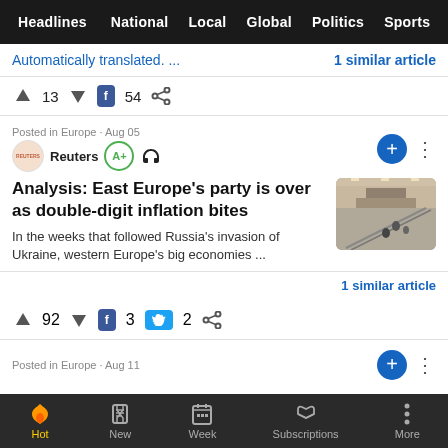Headlines  National  Local  Global  Politics  Sports
Automatically translated. ...
1 similar article
↑ 13 ↓ [f] 54 <share>
Posted in Europe · Aug 05
Reuters  A+
Analysis: East Europe's party is over as double-digit inflation bites
In the weeks that followed Russia's invasion of Ukraine, western Europe's big economies ...
1 similar article
↑ 92 ↓ [f] 3 [t] 2 <share>
Posted in Europe · Aug 11
Hot  New  Week  Subscriptions  More